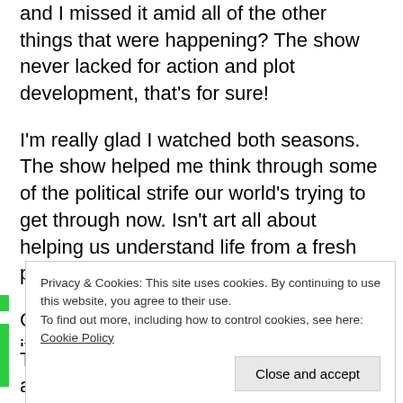point? A throw-away observation? Or was there really a point, and I missed it amid all of the other things that were happening? The show never lacked for action and plot development, that's for sure!
I'm really glad I watched both seasons. The show helped me think through some of the political strife our world's trying to get through now. Isn't art all about helping us understand life from a fresh perspective?
Check out these Concrete Revolutio items from Amazon:
Privacy & Cookies: This site uses cookies. By continuing to use this website, you agree to their use. To find out more, including how to control cookies, see here: Cookie Policy
Close and accept
The show with Hideki Nishimura playing an on-line fantasy